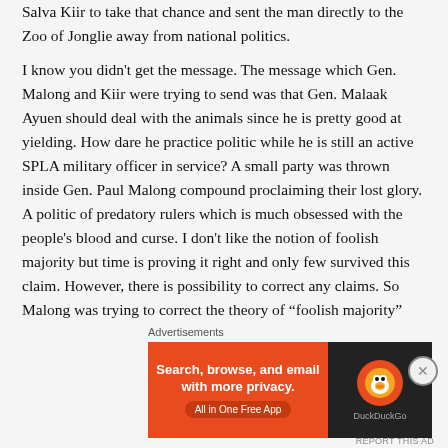Salva Kiir to take that chance and sent the man directly to the Zoo of Jonglie away from national politics.
I know you didn't get the message. The message which Gen. Malong and Kiir were trying to send was that Gen. Malaak Ayuen should deal with the animals since he is pretty good at yielding. How dare he practice politic while he is still an active SPLA military officer in service? A small party was thrown inside Gen. Paul Malong compound proclaiming their lost glory. A politic of predatory rulers which is much obsessed with the people's blood and curse. I don't like the notion of foolish majority but time is proving it right and only few survived this claim. However, there is possibility to correct any claims. So Malong was trying to correct the theory of “foolish majority”
Advertisements
[Figure (other): DuckDuckGo advertisement banner: orange left side with text 'Search, browse, and email with more privacy. All in One Free App' and dark right side with DuckDuckGo logo and duck icon.]